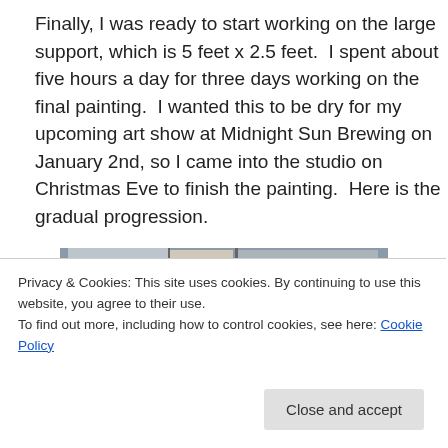Finally, I was ready to start working on the large support, which is 5 feet x 2.5 feet.  I spent about five hours a day for three days working on the final painting.  I wanted this to be dry for my upcoming art show at Midnight Sun Brewing on January 2nd, so I came into the studio on Christmas Eve to finish the painting.  Here is the gradual progression.
[Figure (photo): A large canvas painting in progress showing a landscape with a yellow/cream sky, reddish-brown mountain silhouettes, and red circular poppy-like shapes in the foreground. Studio environment visible in background.]
Privacy & Cookies: This site uses cookies. By continuing to use this website, you agree to their use.
To find out more, including how to control cookies, see here: Cookie Policy